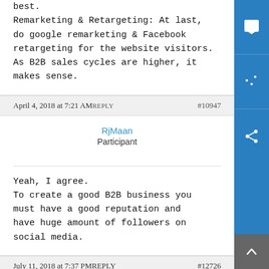best.
Remarketing & Retargeting: At last, do google remarketing & Facebook retargeting for the website visitors. As B2B sales cycles are higher, it makes sense.
April 4, 2018 at 7:21 AM REPLY #10947
RjMaan
Participant
Yeah, I agree.
To create a good B2B business you must have a good reputation and have huge amount of followers on social media.
July 11, 2018 at 7:37 PM REPLY #12726